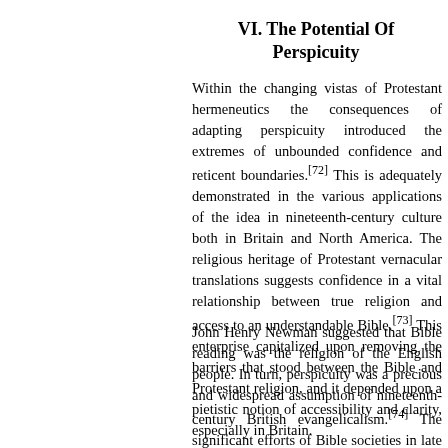VI. The Potential Of Perspicuity
Within the changing vistas of Protestant hermeneutics the consequences of adapting perspicuity introduced the extremes of unbounded confidence and reticent boundaries.[72] This is adequately demonstrated in the various applications of the idea in nineteenth-century culture both in Britain and North America. The religious heritage of Protestant vernacular translations suggests confidence in a vital relationship between true religion and access to an understandable Bible.[73] This enterprise capitalized upon removing the barriers that stood between the Bible and Protestant religion, and it depended upon a pietistic notion of accessibility and clarity, especially in Britain.
John Henry Newman suggested that Bible reading was the religion of the English people. In turn, perspicuity was a precious and widespread assumption of nineteenth-century British evangelicalism.[74] The significant efforts of Bible societies in late eighteenth-century and nineteenth-century